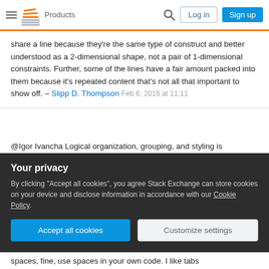Products | Log in | Sign up
share a line because they're the same type of construct and better understood as a 2-dimensional shape, not a pair of 1-dimensional constraints. Further, some of the lines have a fair amount packed into them because it's repeated content that's not all that important to show off. – Slipp D. Thompson Feb 6, 2016 at 11:11
@Igor Ivancha Logical organization, grouping, and styling is extremely important to writing sane, understandable code, just as it is with all kinds of writing. The changes you made were the equivalent of going into someone post and removing all paragraph breaks, and putting a forced newline after each
Your privacy
By clicking "Accept all cookies", you agree Stack Exchange can store cookies on your device and disclose information in accordance with our Cookie Policy.
Accept all cookies
Customize settings
spaces, fine, use spaces in your own code. I like tabs